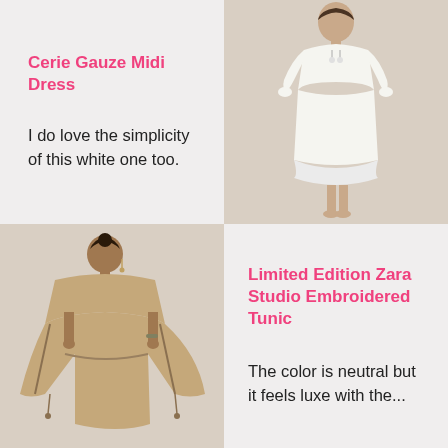Cerie Gauze Midi Dress
I do love the simplicity of this white one too.
[Figure (photo): Model wearing a white gauze midi dress with long sleeves and ruffled hem, photographed against a beige background, standing barefoot]
[Figure (photo): Model wearing a beige/tan embroidered tunic kaftan-style top with drawstring waist and tassels, photographed against a beige background]
Limited Edition Zara Studio Embroidered Tunic
The color is neutral but it feels luxe with the...